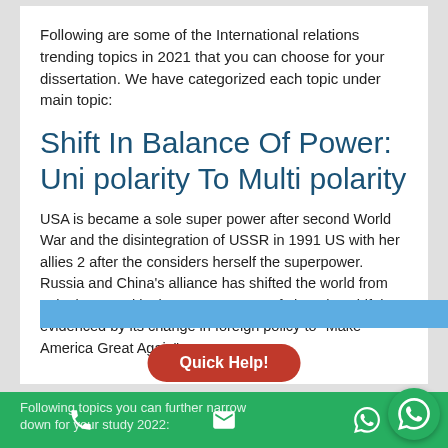Following are some of the International relations trending topics in 2021 that you can choose for your dissertation. We have categorized each topic under main topic:
Shift In Balance Of Power: Uni polarity To Multi polarity
USA is became a sole super power after second World War and the disintegration of USSR in 1991 US with her allies 2 after the considers herself the superpower. Russia and China’s alliance has shifted the world from unipolar to multipolar. USA concern of changing shift is evidenced by its change in foreign policy to “Make America Great Again”.
Following topics you can further narrow down for your study 2022: